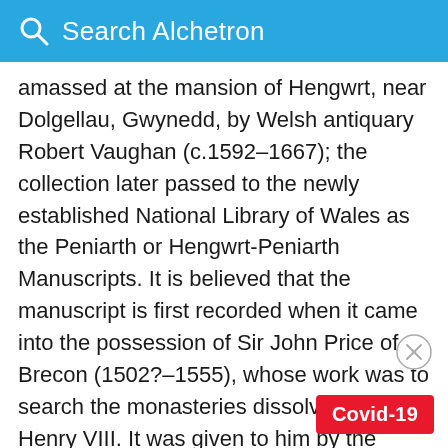Search Alchetron
amassed at the mansion of Hengwrt, near Dolgellau, Gwynedd, by Welsh antiquary Robert Vaughan (c.1592–1667); the collection later passed to the newly established National Library of Wales as the Peniarth or Hengwrt-Peniarth Manuscripts. It is believed that the manuscript is first recorded when it came into the possession of Sir John Price of Brecon (1502?–1555), whose work was to search the monasteries dissolved by Henry VIII. It was given to him by the treasurer of St David's Cathedral, having come from Carmarthen Priory. Llyfr Du Caerfyrddin was described by William Forbes Skene (1809–92) as one of the Four Ancient Books of Wales.